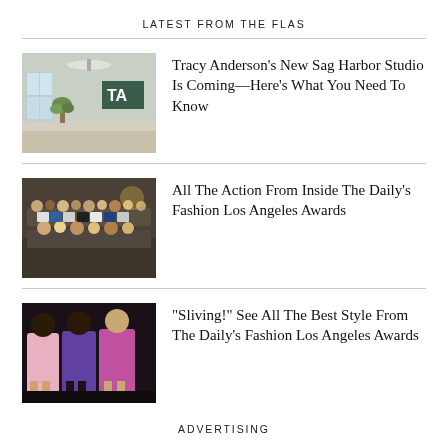LATEST FROM THE FLAS
[Figure (photo): Interior of Tracy Anderson's Sag Harbor studio with ceiling fan, windows, plants, and 'TA' logo on wall]
Tracy Anderson's New Sag Harbor Studio Is Coming—Here's What You Need To Know
[Figure (photo): Audience seated at The Daily's Fashion Los Angeles Awards event, indoor venue]
All The Action From Inside The Daily's Fashion Los Angeles Awards
[Figure (photo): Three women posing at The Daily's Fashion Los Angeles Awards, wearing colorful dresses]
“Sliving!” See All The Best Style From The Daily’s Fashion Los Angeles Awards
ADVERTISING